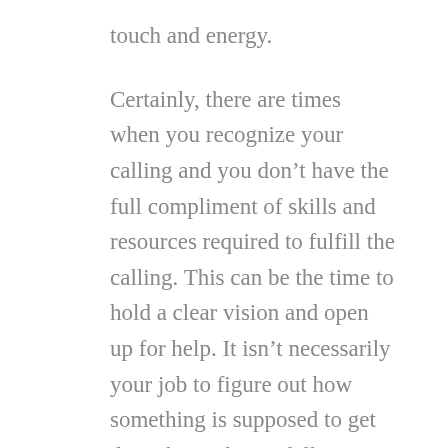touch and energy.
Certainly, there are times when you recognize your calling and you don't have the full compliment of skills and resources required to fulfill the calling. This can be the time to hold a clear vision and open up for help. It isn't necessarily your job to figure out how something is supposed to get done, but rather to fully embrace the vision, share it with others that might want to participate, and hold space for the community to step forward in an act of co-creation with you and Spirit.